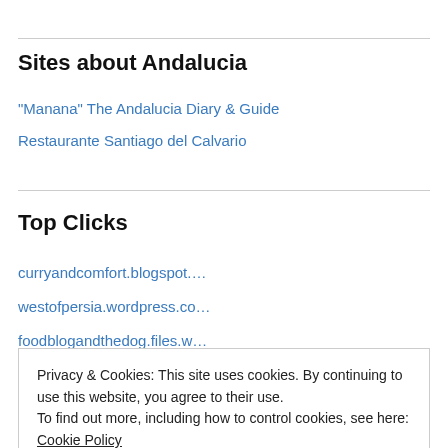Sites about Andalucia
"Manana" The Andalucia Diary & Guide
Restaurante Santiago del Calvario
Top Clicks
curryandcomfort.blogspot....
westofpersia.wordpress.co…
foodblogandthedog.files.w…
foodtopia.wordpress.com/…
Privacy & Cookies: This site uses cookies. By continuing to use this website, you agree to their use.
To find out more, including how to control cookies, see here: Cookie Policy
Close and accept